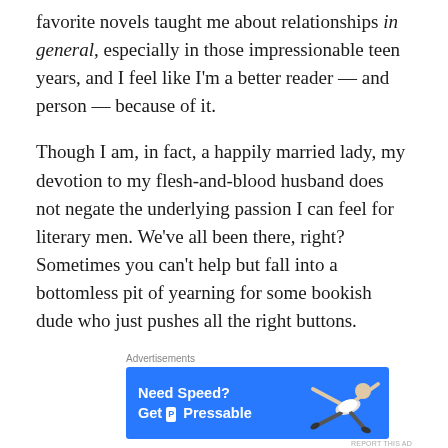favorite novels taught me about relationships in general, especially in those impressionable teen years, and I feel like I'm a better reader — and person — because of it.
Though I am, in fact, a happily married lady, my devotion to my flesh-and-blood husband does not negate the underlying passion I can feel for literary men. We've all been there, right? Sometimes you can't help but fall into a bottomless pit of yearning for some bookish dude who just pushes all the right buttons.
[Figure (screenshot): Advertisement banner for Pressable hosting service with blue background, bold white text 'Need Speed? Get Pressable' with a P logo, and a figure of a person flying/diving on the right side.]
It's easy to lust after someone two-dimensional. We